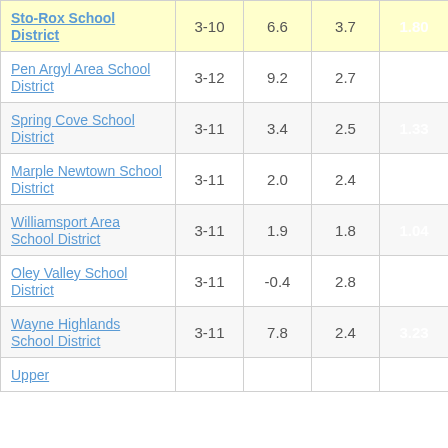| School District | Grades | Col3 | Col4 | Col5 |
| --- | --- | --- | --- | --- |
| Sto-Rox School District | 3-10 | 6.6 | 3.7 | 1.80 |
| Pen Argyl Area School District | 3-12 | 9.2 | 2.7 | 3.46 |
| Spring Cove School District | 3-11 | 3.4 | 2.5 | 1.33 |
| Marple Newtown School District | 3-11 | 2.0 | 2.4 | 0.81 |
| Williamsport Area School District | 3-11 | 1.9 | 1.8 | 1.04 |
| Oley Valley School District | 3-11 | -0.4 | 2.8 | -0.15 |
| Wayne Highlands School District | 3-11 | 7.8 | 2.4 | 3.23 |
| Upper … |  |  |  |  |